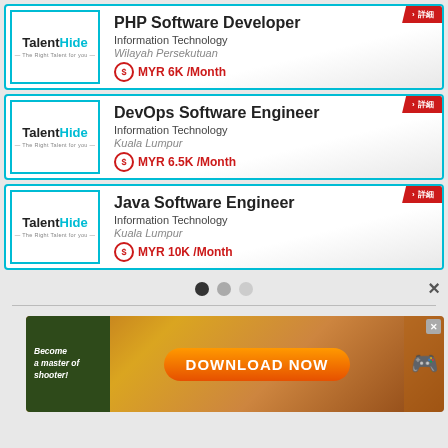[Figure (screenshot): Job listing card: PHP Software Developer at TalentHide, Information Technology, Wilayah Persekutuan, MYR 6K /Month]
[Figure (screenshot): Job listing card: DevOps Software Engineer at TalentHide, Information Technology, Kuala Lumpur, MYR 6.5K /Month]
[Figure (screenshot): Job listing card: Java Software Engineer at TalentHide, Information Technology, Kuala Lumpur, MYR 10K /Month]
[Figure (screenshot): Carousel dots indicator showing 3 pages]
[Figure (screenshot): Advertisement banner: Become a master of shooter! DOWNLOAD NOW]